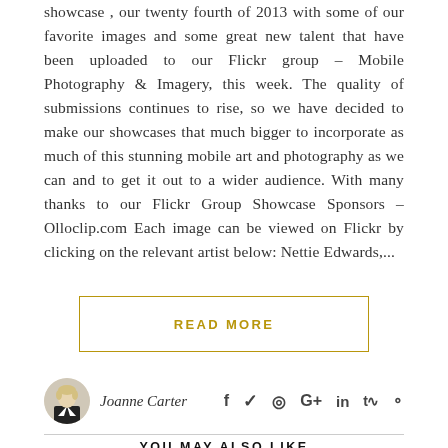showcase , our twenty fourth of 2013 with some of our favorite images and some great new talent that have been uploaded to our Flickr group – Mobile Photography & Imagery, this week. The quality of submissions continues to rise, so we have decided to make our showcases that much bigger to incorporate as much of this stunning mobile art and photography as we can and to get it out to a wider audience. With many thanks to our Flickr Group Showcase Sponsors – Olloclip.com Each image can be viewed on Flickr by clicking on the relevant artist below: Nettie Edwards,...
READ MORE
Joanne Carter
YOU MAY ALSO LIKE